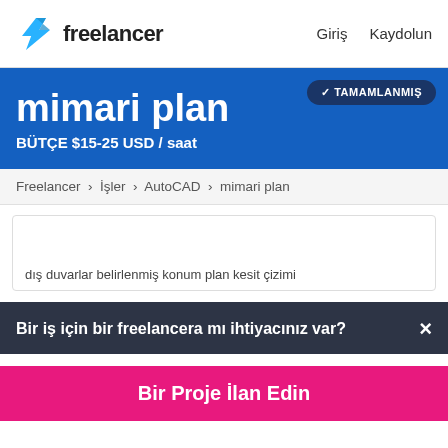Freelancer — Giriş  Kaydolun
mimari plan
BÜTÇE $15-25 USD / saat
✓ TAMAMLANMIŞ
Freelancer › İşler › AutoCAD › mimari plan
dış duvarlar belirlenmiş konum plan kesit çizimi
Bir iş için bir freelancera mı ihtiyacınız var? ×
Bir Proje İlan Edin